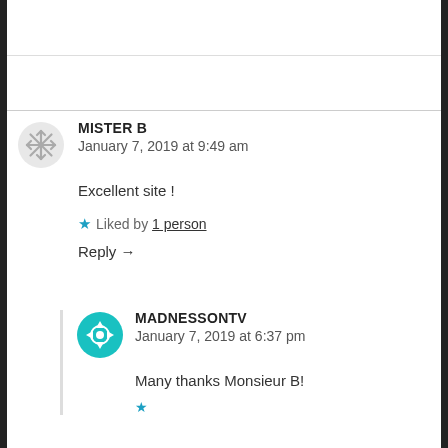MISTER B
January 7, 2019 at 9:49 am
Excellent site !
★ Liked by 1 person
Reply →
MADNESSONTV
January 7, 2019 at 6:37 pm
Many thanks Monsieur B!